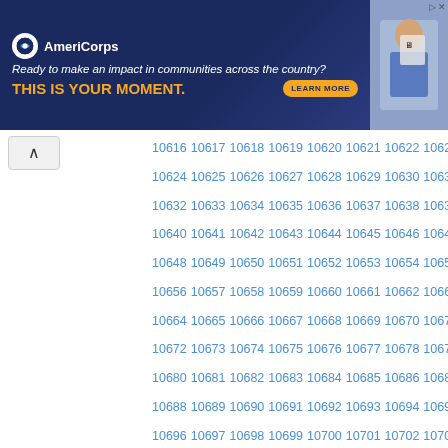[Figure (other): AmeriCorps advertisement banner: 'Ready to make an impact in communities across the country? THIS IS YOUR MOMENT. LEARN MORE']
10616 10617 10618 10619 10620 10621 10622 10623
10624 10625 10626 10627 10628 10629 10630 10631
10632 10633 10634 10635 10636 10637 10638 10639
10640 10641 10642 10643 10644 10645 10646 10647
10648 10649 10650 10651 10652 10653 10654 10655
10656 10657 10658 10659 10660 10661 10662 10663
10664 10665 10666 10667 10668 10669 10670 10671
10672 10673 10674 10675 10676 10677 10678 10679
10680 10681 10682 10683 10684 10685 10686 10687
10688 10689 10690 10691 10692 10693 10694 10695
10696 10697 10698 10699 10700 10701 10702 10703
10704 10705 10706 10707 10708 10709 10710 10711
10712 10713 10714 10715 10716 10717 10718 10719
10720 10721 10722 10723 10724 10725 10726 10727
10728 10729 10730 10731 10732 10733 10734 10735
10736 10737 10738 10739 10740 10741 10742 10743
10744 10745 10746 10747 10748 10749 10750 10751
10752 10753 10754 10755 10756 10757 10758 10759
10760 10761 10762 10763 10764 10765 10766 10767